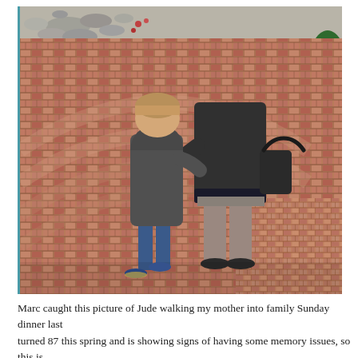[Figure (photo): A child and an elderly person walking hand-in-hand away from the camera on a decorative brick patio. The child is small with blonde hair wearing a grey hoodie and blue jeans with blue sneakers. The elderly person is larger, wearing a dark grey sweatshirt, grey pants, dark shoes, and carrying a dark handbag. There are green shrubs and rocks visible in the background.]
Marc caught this picture of Jude walking my mother into family Sunday dinner last... turned 87 this spring and is showing signs of having some memory issues, so this is...